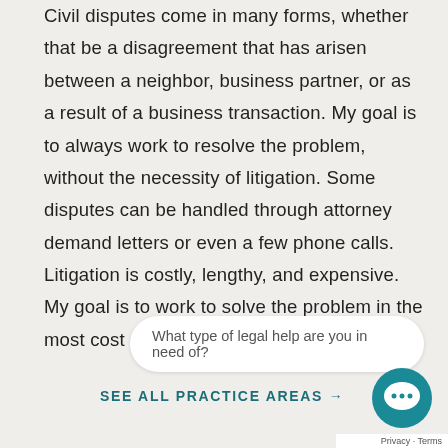Civil disputes come in many forms, whether that be a disagreement that has arisen between a neighbor, business partner, or as a result of a business transaction. My goal is to always work to resolve the problem, without the necessity of litigation. Some disputes can be handled through attorney demand letters or even a few phone calls. Litigation is costly, lengthy, and expensive. My goal is to work to solve the problem in the most cost effective manner for the client.
What type of legal help are you in need of?
SEE ALL PRACTICE AREAS →